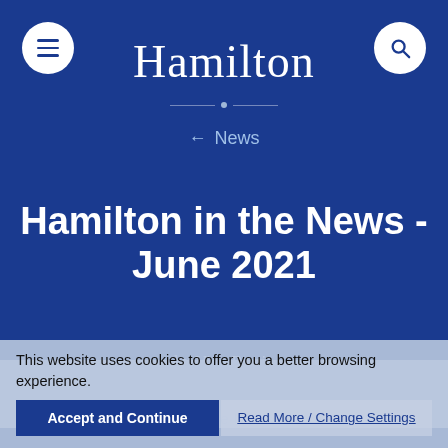Hamilton
← News
Hamilton in the News - June 2021
by Vige Barrie
July 1, 2021
College News
This website uses cookies to offer you a better browsing experience.
Accept and Continue
Read More / Change Settings